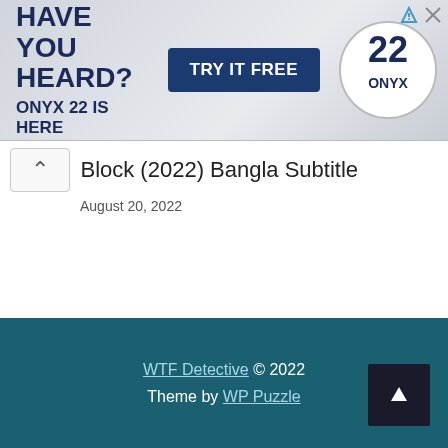[Figure (photo): Advertisement banner for ONYX 22 software. Text reads: HAVE YOU HEARD? ONYX 22 IS HERE with a TRY IT FREE button and the ONYX 22 circular logo on the right.]
Block (2022) Bangla Subtitle
August 20, 2022
WTF Detective © 2022 Theme by WP Puzzle